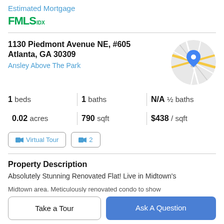Estimated Mortgage
[Figure (logo): FMLS IDX logo in green]
1130 Piedmont Avenue NE, #605
Atlanta, GA 30309
Ansley Above The Park
[Figure (map): Circular map thumbnail with blue location pin marker]
1 beds | 1 baths | N/A ½ baths | 0.02 acres | 790 sqft | $438 / sqft
Virtual Tour | 2
Property Description
Absolutely Stunning Renovated Flat! Live in Midtown's
Take a Tour
Ask A Question
Midtown area. Meticulously renovated condo to show